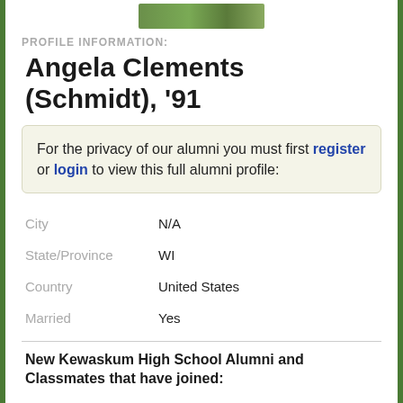[Figure (photo): Small profile photo thumbnail at top center]
PROFILE INFORMATION:
Angela Clements (Schmidt), '91
For the privacy of our alumni you must first register or login to view this full alumni profile:
| Field | Value |
| --- | --- |
| City | N/A |
| State/Province | WI |
| Country | United States |
| Married | Yes |
New Kewaskum High School Alumni and Classmates that have joined: